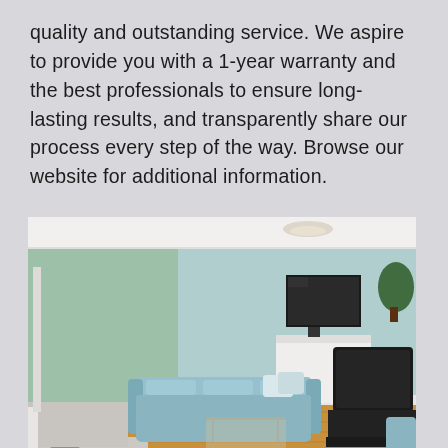quality and outstanding service. We aspire to provide you with a 1-year warranty and the best professionals to ensure long-lasting results, and transparently share our process every step of the way. Browse our website for additional information.
[Figure (photo): Interior photo of a living room with light blue/mint painted walls, hardwood flooring, a light blue leather sofa with pillows, a glass coffee table, a wall-mounted flat-screen TV above a white fireplace mantel, a large dark CRT television on a stand to the right, a small plant in the corner, and a crystal chandelier on the white ceiling.]